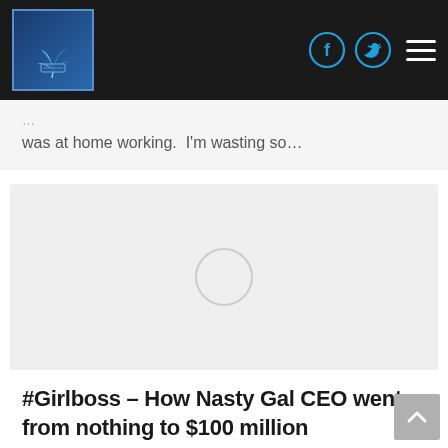[Figure (logo): Blue gradient logo box with plant/leaf illustration]
[Figure (other): Navigation bar with social media icons (Facebook, Twitter) and hamburger menu on dark background]
was at home working.  I'm wasting so…
[Figure (other): Gray image placeholder with a circular loading spinner in the center]
#Girlboss – How Nasty Gal CEO went from nothing to $100 million
Entrepreneur, Expert Advice, StartUps, workshops, tips, & How to's